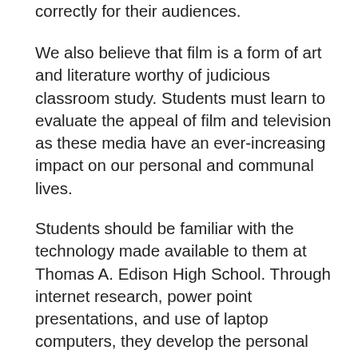correctly for their audiences.
We also believe that film is a form of art and literature worthy of judicious classroom study. Students must learn to evaluate the appeal of film and television as these media have an ever-increasing impact on our personal and communal lives.
Students should be familiar with the technology made available to them at Thomas A. Edison High School. Through internet research, power point presentations, and use of laptop computers, they develop the personal initiative to use these resources effectively. The English program encourages all